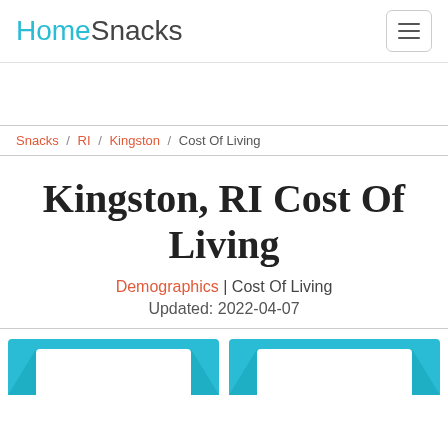HomeSnacks
Snacks / RI / Kingston / Cost Of Living
Kingston, RI Cost Of Living
Demographics | Cost Of Living
Updated: 2022-04-07
[Figure (other): Two teal card elements partially visible at the bottom of the page]